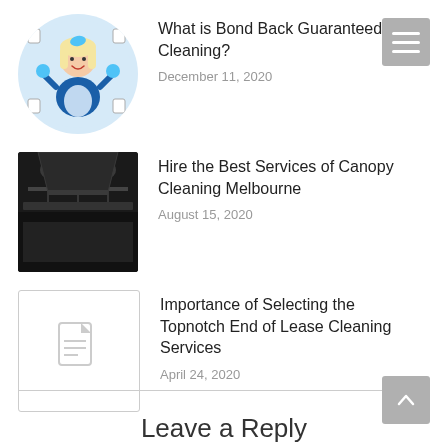[Figure (illustration): Circular thumbnail showing a smiling woman in blue apron holding cleaning supplies, surrounded by cleaning icons]
What is Bond Back Guaranteed Cleaning?
December 11, 2020
[Figure (photo): Dark photo of a commercial kitchen interior with stainless steel equipment]
Hire the Best Services of Canopy Cleaning Melbourne
August 15, 2020
[Figure (illustration): Placeholder thumbnail with document icon]
Importance of Selecting the Topnotch End of Lease Cleaning Services
April 24, 2020
Leave a Reply